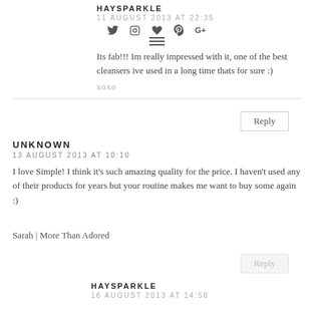HAYSPARKLE
11 AUGUST 2013 AT 22:35
Its fab!!! Im really impressed with it, one of the best cleansers ive used in a long time thats for sure :)
xoxo
Reply
UNKNOWN
13 AUGUST 2013 AT 10:10
I love Simple! I think it's such amazing quality for the price. I haven't used any of their products for years but your routine makes me want to buy some again :)
Sarah | More Than Adored
Reply
HAYSPARKLE
16 AUGUST 2013 AT 14:58